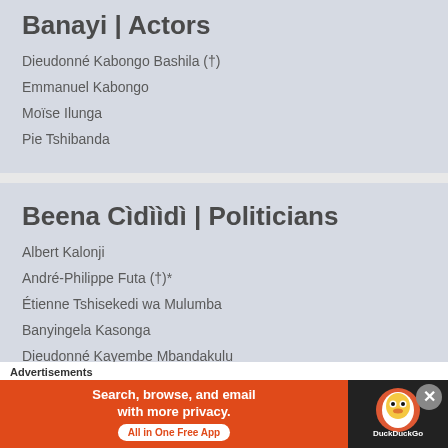Banayi | Actors
Dieudonné Kabongo Bashila (†)
Emmanuel Kabongo
Moïse Ilunga
Pie Tshibanda
Beena Cìdììdì | Politicians
Albert Kalonji
André-Philippe Futa (†)*
Étienne Tshisekedi wa Mulumba
Banyingela Kasonga
Dieudonné Kayembe Mbandakulu
Advertisements
[Figure (screenshot): DuckDuckGo advertisement banner: Search, browse, and email with more privacy. All in One Free App]